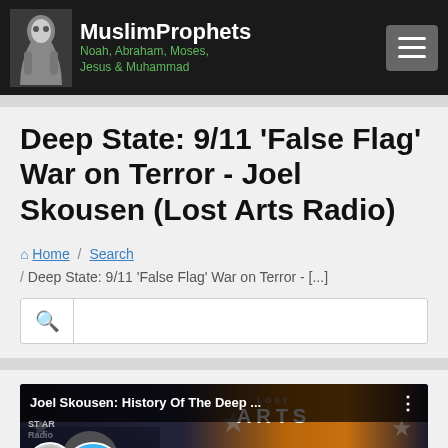MuslimProphets — Noah, Abraham, Moses, Jesus & Muhammad
Deep State: 9/11 'False Flag' War on Terror - Joel Skousen (Lost Arts Radio)
Home / Search / Deep State: 9/11 'False Flag' War on Terror - [...]
[Figure (screenshot): Search box with magnifying glass icon]
[Figure (screenshot): YouTube video thumbnail for 'Joel Skousen: History Of The Deep ...' from Lost Arts Radio, with channel icon, chat bubble showing 3, play button, and upload button overlay]